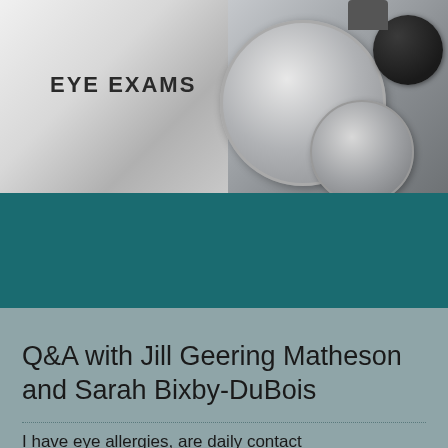[Figure (photo): Close-up photograph of an eye exam phoropter / optometry equipment with dials and lenses, in grayscale/muted tones. Text overlay reads 'EYE EXAMS'.]
Q&A with Jill Geering Matheson and Sarah Bixby-DuBois
I have eye allergies, are daily contact